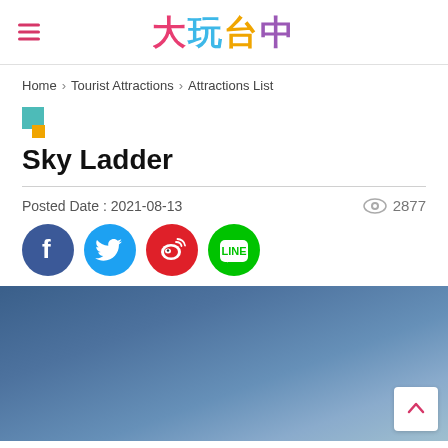大玩台中
Home > Tourist Attractions > Attractions List
Sky Ladder
Posted Date : 2021-08-13
2877 views
[Figure (infographic): Social media share icons: Facebook, Twitter, Weibo, LINE]
[Figure (photo): Blue sky gradient background photo, partially visible, with a back-to-top arrow button in the bottom right corner]